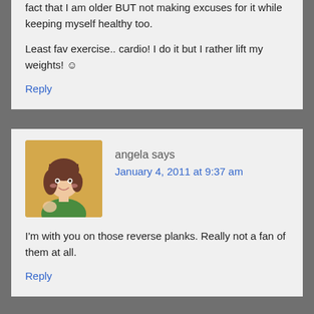fact that I am older BUT not making excuses for it while keeping myself healthy too.

Least fav exercise.. cardio! I do it but I rather lift my weights! ☺
Reply
angela says
January 4, 2011 at 9:37 am
I'm with you on those reverse planks. Really not a fan of them at all.
Reply